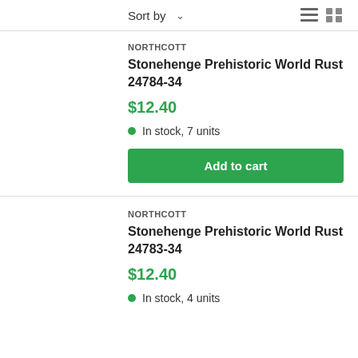Sort by
NORTHCOTT
Stonehenge Prehistoric World Rust 24784-34
$12.40
In stock, 7 units
Add to cart
NORTHCOTT
Stonehenge Prehistoric World Rust 24783-34
$12.40
In stock, 4 units